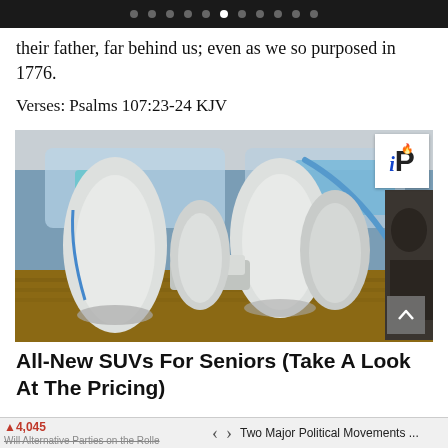navigation dots bar
their father, far behind us; even as we so purposed in 1776.
Verses: Psalms 107:23-24 KJV
[Figure (photo): Interior of a futuristic concept car showing white/cream colored seats arranged facing each other with blue accent lighting, panoramic windows, and wooden floor, with an iP logo overlay in top right corner]
All-New SUVs For Seniors (Take A Look At The Pricing)
▲4,045  Will Alternative Parties on the Rolls...  < >  Two Major Political Movements ...